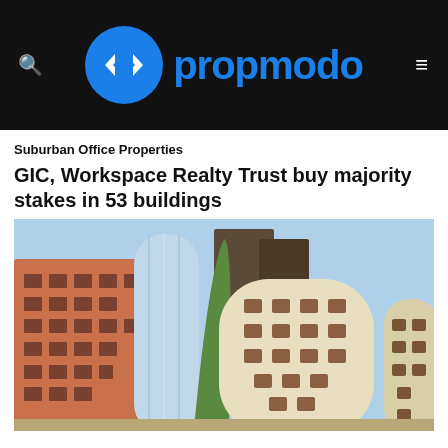[Figure (logo): Propmodo logo: blue circle with white diamond/arrow shapes in center, beside blue bold text 'propmodo' on black header bar]
Suburban Office Properties
GIC, Workspace Realty Trust buy majority stakes in 53 buildings
[Figure (photo): Illustration of colorful suburban office buildings clustered together: orange brick building on left, cylindrical glass blue tower, green curved wall, beige rounded modern buildings on right, against light blue sky background]